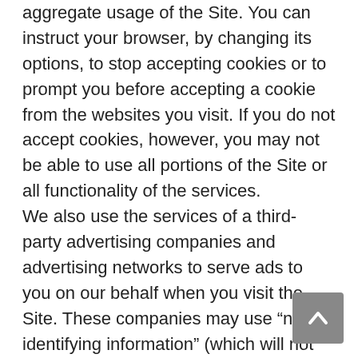aggregate usage of the Site. You can instruct your browser, by changing its options, to stop accepting cookies or to prompt you before accepting a cookie from the websites you visit. If you do not accept cookies, however, you may not be able to use all portions of the Site or all functionality of the services. We also use the services of a third-party advertising companies and advertising networks to serve ads to you on our behalf when you visit the Site. These companies may use “non-identifying information” (which will not including your name, address, email address or telephone number) about your visits to this Site and other websites in order to provide advertisements about goods and services of interest to you. If you would like more